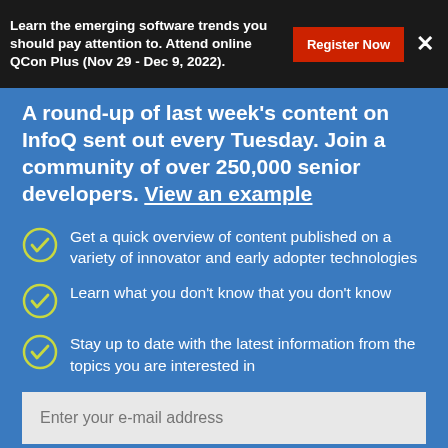Learn the emerging software trends you should pay attention to. Attend online QCon Plus (Nov 29 - Dec 9, 2022).
A round-up of last week’s content on InfoQ sent out every Tuesday. Join a community of over 250,000 senior developers. View an example
Get a quick overview of content published on a variety of innovator and early adopter technologies
Learn what you don’t know that you don’t know
Stay up to date with the latest information from the topics you are interested in
Enter your e-mail address
SUBSCRIBE